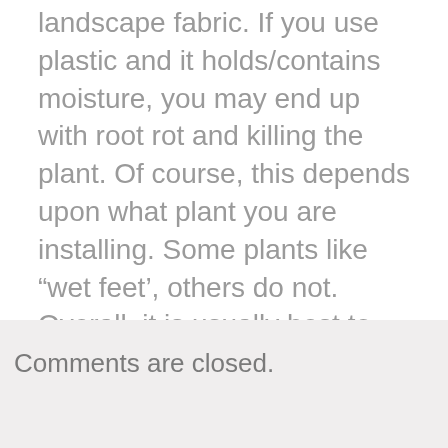landscape fabric. If you use plastic and it holds/contains moisture, you may end up with root rot and killing the plant. Of course, this depends upon what plant you are installing. Some plants like 'wet feet', others do not. Overall, it is usually best to have good drainage and landscaping fabric does this quite well.
Comments are closed.